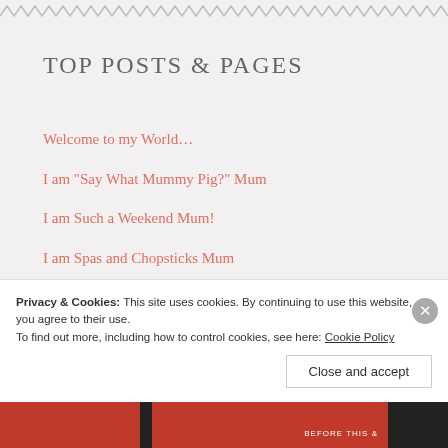TOP POSTS & PAGES
Welcome to my World…
I am "Say What Mummy Pig?" Mum
I am Such a Weekend Mum!
I am Spas and Chopsticks Mum
Sacking My Handbag: Service No Longer Required
Privacy & Cookies: This site uses cookies. By continuing to use this website, you agree to their use. To find out more, including how to control cookies, see here: Cookie Policy
Close and accept